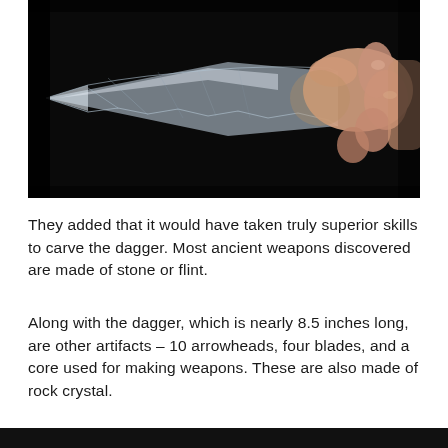[Figure (photo): A hand holding a translucent rock crystal dagger with a pointed tip against a black background. The blade is nearly transparent with visible texture and serrated edges.]
They added that it would have taken truly superior skills to carve the dagger. Most ancient weapons discovered are made of stone or flint.
Along with the dagger, which is nearly 8.5 inches long, are other artifacts – 10 arrowheads, four blades, and a core used for making weapons. These are also made of rock crystal.